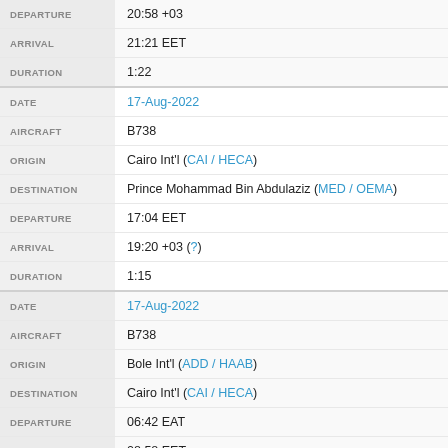| Field | Value |
| --- | --- |
| DEPARTURE | 20:58 +03 |
| ARRIVAL | 21:21 EET |
| DURATION | 1:22 |
| DATE | 17-Aug-2022 |
| AIRCRAFT | B738 |
| ORIGIN | Cairo Int'l (CAI / HECA) |
| DESTINATION | Prince Mohammad Bin Abdulaziz (MED / OEMA) |
| DEPARTURE | 17:04 EET |
| ARRIVAL | 19:20 +03 (?) |
| DURATION | 1:15 |
| DATE | 17-Aug-2022 |
| AIRCRAFT | B738 |
| ORIGIN | Bole Int'l (ADD / HAAB) |
| DESTINATION | Cairo Int'l (CAI / HECA) |
| DEPARTURE | 06:42 EAT |
| ARRIVAL | 08:58 EET |
| DURATION | 3:16 |
| DATE | 16-Aug-2022 |
| AIRCRAFT | B738 |
| ORIGIN | Cairo Int'l (CAI / HECA) |
| DESTINATION | Bole Int'l (ADD / HAAB) |